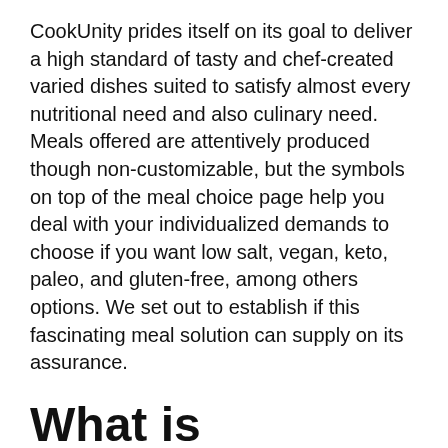CookUnity prides itself on its goal to deliver a high standard of tasty and chef-created varied dishes suited to satisfy almost every nutritional need and also culinary need. Meals offered are attentively produced though non-customizable, but the symbols on top of the meal choice page help you deal with your individualized demands to choose if you want low salt, vegan, keto, paleo, and gluten-free, among others options. We set out to establish if this fascinating meal solution can supply on its assurance.
What is CookUnity?
CookUnity was developed in 2015 by Mateo Marietti, that generated the idea after